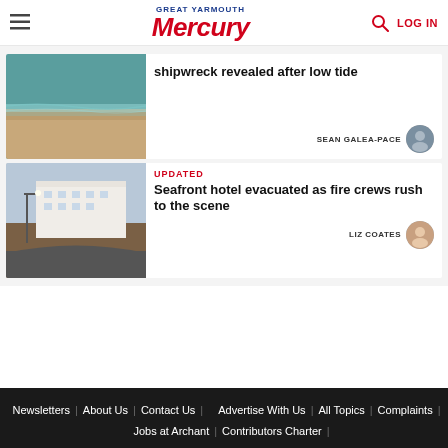Great Yarmouth Mercury | LOG IN
shipwreck revealed after low tide
SEAN GALEA-PACE
UPDATED
Seafront hotel evacuated as fire crews rush to the scene
LIZ COATES
Newsletters | About Us | Contact Us | Advertise With Us | All Topics | Complaints | Jobs at Archant | Contributors Charter |